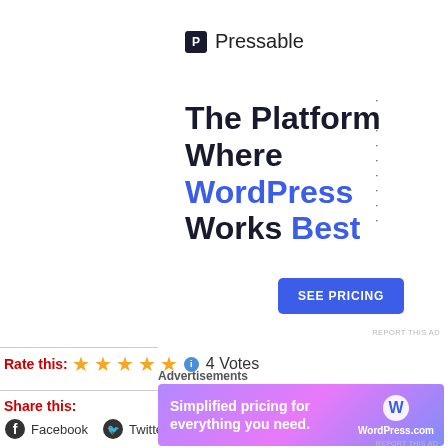[Figure (logo): Pressable logo with blue square icon and Pressable text, followed by a row of dots]
The Platform Where WordPress Works Best
[Figure (other): SEE PRICING button in blue]
REPORT THIS AD
Rate this: 4 Votes (4.5 star rating)
Share this:
Facebook  Twitter  Email  Print
Advertisements
[Figure (advertisement): WordPress.com advertisement: Simplified pricing for everything you need.]